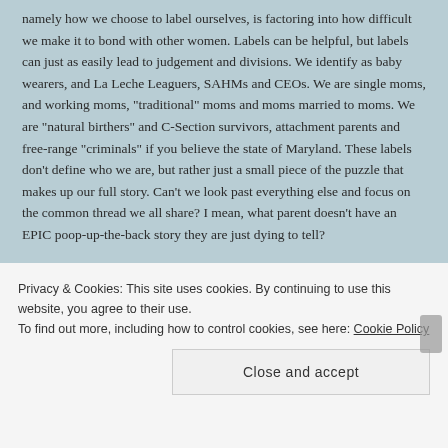namely how we choose to label ourselves, is factoring into how difficult we make it to bond with other women. Labels can be helpful, but labels can just as easily lead to judgement and divisions. We identify as baby wearers, and La Leche Leaguers, SAHMs and CEOs. We are single moms, and working moms, "traditional" moms and moms married to moms. We are "natural birthers" and C-Section survivors, attachment parents and free-range "criminals" if you believe the state of Maryland. These labels don't define who we are, but rather just a small piece of the puzzle that makes up our full story. Can't we look past everything else and focus on the common thread we all share? I mean, what parent doesn't have an EPIC poop-up-the-back story they are just dying to tell?
[Figure (photo): A partial photograph showing green foliage/trees]
Privacy & Cookies: This site uses cookies. By continuing to use this website, you agree to their use.
To find out more, including how to control cookies, see here: Cookie Policy
Close and accept